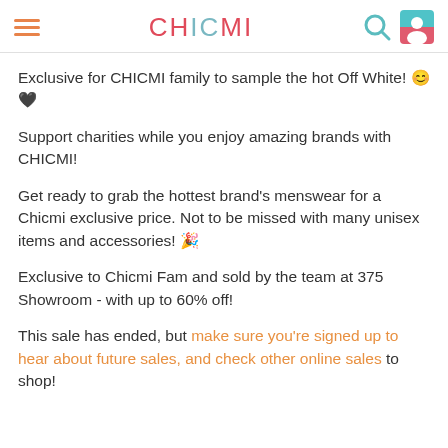CHICMI
Exclusive for CHICMI family to sample the hot Off White! 😊🖤
Support charities while you enjoy amazing brands with CHICMI!
Get ready to grab the hottest brand's menswear for a Chicmi exclusive price. Not to be missed with many unisex items and accessories! 🎉
Exclusive to Chicmi Fam and sold by the team at 375 Showroom - with up to 60% off!
This sale has ended, but make sure you're signed up to hear about future sales, and check other online sales to shop!